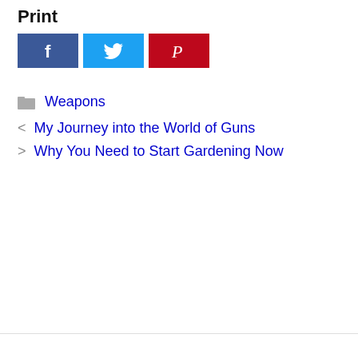Print
[Figure (other): Social sharing buttons: Facebook (blue), Twitter (light blue), Pinterest (red)]
Weapons
< My Journey into the World of Guns
> Why You Need to Start Gardening Now